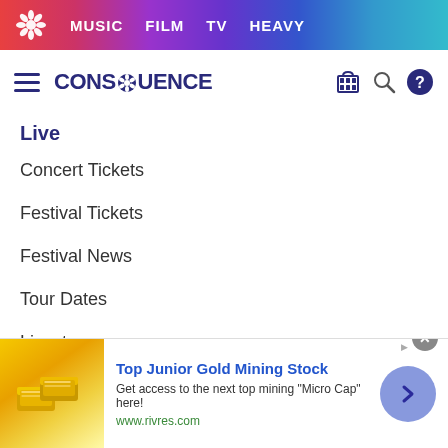MUSIC  FILM  TV  HEAVY
[Figure (logo): Consequence of Sound logo with hamburger menu, search, and help icons]
Live
Concert Tickets
Festival Tickets
Festival News
Tour Dates
Livestreams
Music Instruments & Gear
Heavy
[Figure (screenshot): Advertisement banner: Top Junior Gold Mining Stock - Get access to the next top mining 'Micro Cap' here! www.rivres.com]